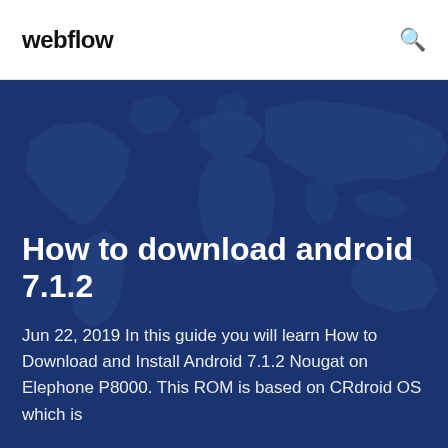webflow
[Figure (illustration): World map silhouette illustration in dark blue tones used as hero background]
How to download android 7.1.2
Jun 22, 2019 In this guide you will learn How to Download and Install Android 7.1.2 Nougat on Elephone P8000. This ROM is based on CRdroid OS which is